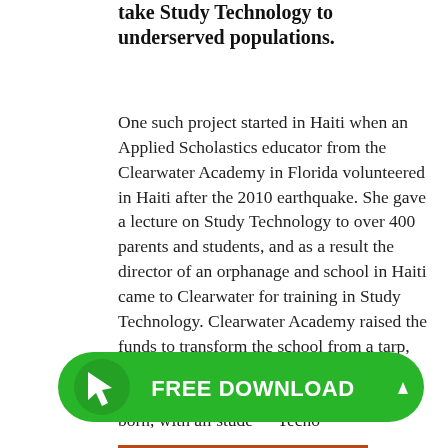take Study Technology to underserved populations.
One such project started in Haiti when an Applied Scholastics educator from the Clearwater Academy in Florida volunteered in Haiti after the 2010 earthquake. She gave a lecture on Study Technology to over 400 parents and students, and as a result the director of an orphanage and school in Haiti came to Clearwater for training in Study Technology. Clearwater Academy raised the funds to transform the school from a tarp, straw and sticks area to a brick building with a solid roof, and a new school was born, with all stude... Techo...
[Figure (other): Green rounded pill-shaped button overlay with a cursor/arrow icon on the left in a circular background, bold white text reading 'FREE DOWNLOAD', and an upward caret arrow on the right.]